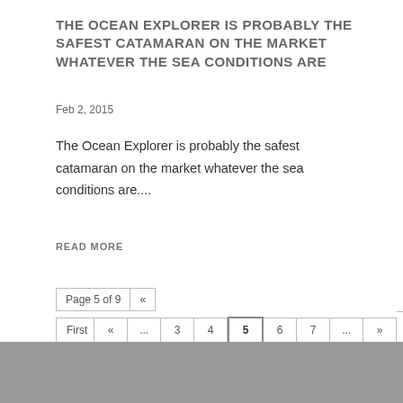THE OCEAN EXPLORER IS PROBABLY THE SAFEST CATAMARAN ON THE MARKET WHATEVER THE SEA CONDITIONS ARE
Feb 2, 2015
The Ocean Explorer is probably the safest catamaran on the market whatever the sea conditions are....
READ MORE
Page 5 of 9  «  First  «  ...  3  4  5  6  7  ...  »  Last »